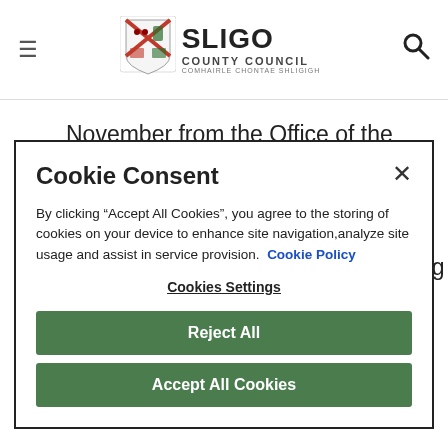Sligo County Council — navigation header with hamburger menu, logo, and search icon
November from the Office of the Minister for the Environment, Community and Local Government re. Irish League of Credit Unions lending
Cookie Consent
By clicking “Accept All Cookies”, you agree to the storing of cookies on your device to enhance site navigation,analyze site usage and assist in service provision. Cookie Policy
Cookies Settings
Reject All
Accept All Cookies